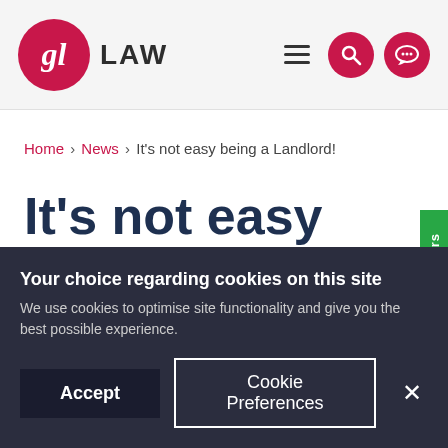[Figure (logo): GL Law logo: pink circle with white 'gl' letters, followed by 'LAW' text, hamburger menu icon, search icon circle, and chat bubble icon circle]
Home › News › It's not easy being a Landlord!
It's not easy being a
Your choice regarding cookies on this site
We use cookies to optimise site functionality and give you the best possible experience.
Accept  Cookie Preferences  ×